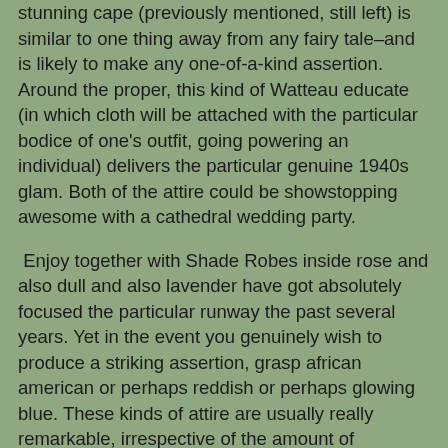stunning cape (previously mentioned, still left) is similar to one thing away from any fairy tale–and is likely to make any one-of-a-kind assertion. Around the proper, this kind of Watteau educate (in which cloth will be attached with the particular bodice of one's outfit, going powering an individual) delivers the particular genuine 1940s glam. Both of the attire could be showstopping awesome with a cathedral wedding party.
Enjoy together with Shade Robes inside rose and also dull and also lavender have got absolutely focused the particular runway the past several years. Yet in the event you genuinely wish to produce a striking assertion, grasp african american or perhaps reddish or perhaps glowing blue. These kinds of attire are usually really remarkable, irrespective of the amount of marriage ceremonies friends and family show up at subsequent summer season. Yet probably none way more as compared to this kind of reddish peplum mermaid outfit (previously mentioned, proper) together with lace edgework. Uneven designer wedding dresses are usually very popular today. Specifically together with a-line and also sheath silhouettes, we're experiencing a lot of brought up